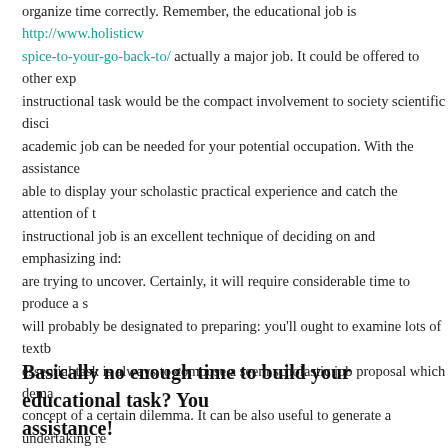organize time correctly. Remember, the educational job is http://www.holisticw spice-to-your-go-back-to/ actually a major job. It could be offered to other exp instructional task would be the compact involvement to society scientific disci academic job can be needed for your potential occupation. With the assistance able to display your scholastic practical experience and catch the attention of t instructional job is an excellent technique of deciding on and emphasizing ind: are trying to uncover. Certainly, it will require considerable time to produce a s will probably be designated to preparing: you'll ought to examine lots of textb essential task is always to compose a seem scholastic job proposal which dema concept of a certain dilemma. It can be also useful to generate a undertaking re findings of the study. When you don't would like to get a failing class for any greatest educational job publishing support and get your educational task on-li examine help is the only real attainable solution for people pupils who cannot several factors.
Basically no enough time to build your educational task? You assistance!